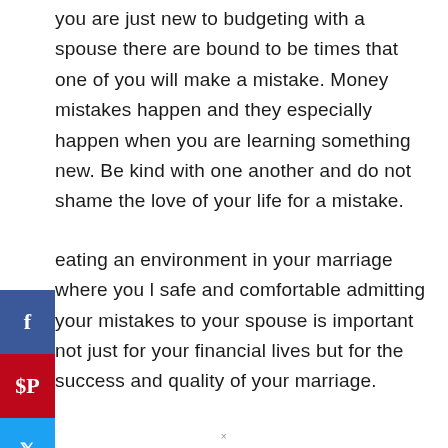you are just new to budgeting with a spouse there are bound to be times that one of you will make a mistake. Money mistakes happen and they especially happen when you are learning something new. Be kind with one another and do not shame the love of your life for a mistake.
Creating an environment in your marriage where you feel safe and comfortable admitting your mistakes to your spouse is important not just for your financial lives but for the success and quality of your marriage.
×